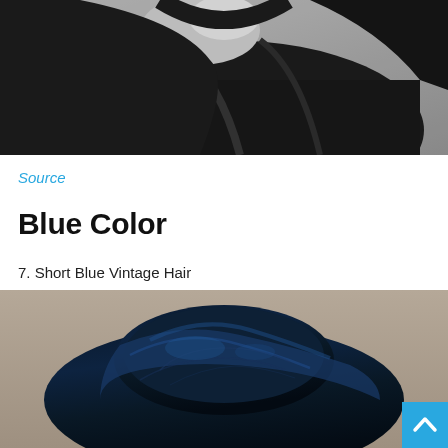[Figure (photo): Black and white photo of a person wearing a black top or jacket, cropped showing shoulders and lower face/neck area]
Source
Blue Color
7. Short Blue Vintage Hair
[Figure (photo): Color photo of a person with short dark blue vintage-style hair, updo hairstyle against a beige/taupe background]